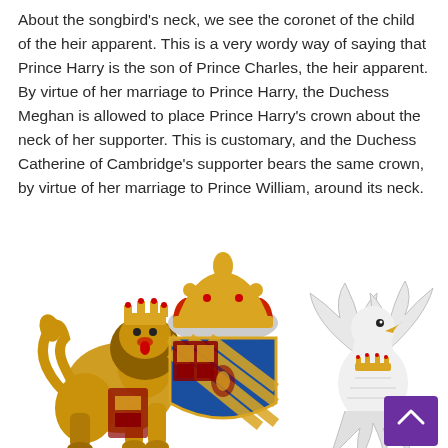About the songbird's neck, we see the coronet of the child of the heir apparent. This is a very wordy way of saying that Prince Harry is the son of Prince Charles, the heir apparent. By virtue of her marriage to Prince Harry, the Duchess Meghan is allowed to place Prince Harry's crown about the neck of her supporter. This is customary, and the Duchess Catherine of Cambridge's supporter bears the same crown, by virtue of her marriage to Prince William, around its neck.
[Figure (illustration): A heraldic coat of arms featuring a golden lion supporter on the left, a central shield with a large red and gold crown above it, a blue shield with gold diagonal stripes, and a white songbird (dove) supporter on the right wearing a coronet around its neck. There is also a purple scroll-to-top button in the lower right corner.]